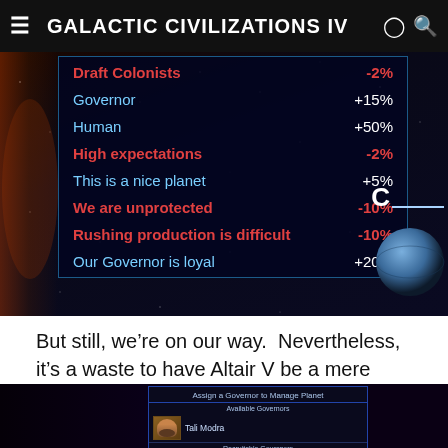Galactic Civilizations IV
[Figure (screenshot): Game UI screenshot showing a stats table panel with modifiers: Draft Colonists -2%, Governor +15%, Human +50%, High expectations -2%, This is a nice planet +5%, We are unprotected -10%, Rushing production is difficult -10%, Our Governor is loyal +20%. A planet image and letter C visible on the right.]
But still, we're on our way.  Nevertheless, it's a waste to have Altair V be a mere colony.
[Figure (screenshot): Game UI screenshot showing 'Assign a Governor to Manage Planet' dialog with Available Governors: Tali Modra, and Recruitable Governors: Pranav Lon (cost 334), Ginny Gaelish.]